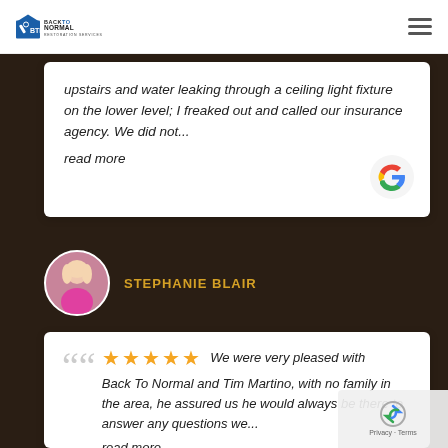Back To Normal Restoration Services
upstairs and water leaking through a ceiling light fixture on the lower level; I freaked out and called our insurance agency. We did not... read more
STEPHANIE BLAIR
We were very pleased with Back To Normal and Tim Martino, with no family in the area, he assured us he would always be there to answer any questions we... read more